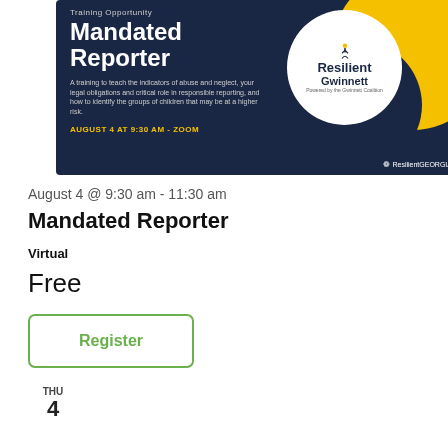[Figure (infographic): Mandated Reporter event banner card with dark navy background, gold circle, Resilient Gwinnett logo, training description, and date AUGUST 4 AT 9:30 AM - ZOOM]
August 4 @ 9:30 am - 11:30 am
Mandated Reporter
Virtual
Free
Register
THU
4
[Figure (infographic): QPR Training Opportunity event banner card with dark navy background, gold circle, and Resilient Gwinnett logo tree icon]